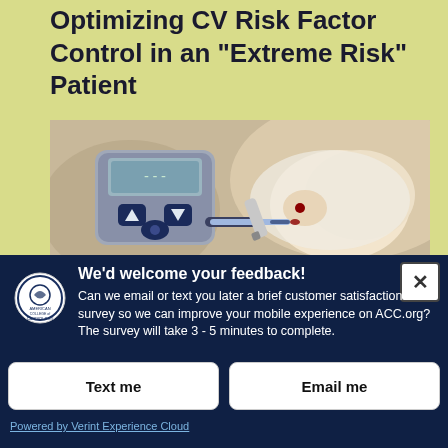Optimizing CV Risk Factor Control in an "Extreme Risk" Patient
[Figure (photo): Close-up photo of a person using a blood glucose meter, with a lancet touching a fingertip to collect blood. The glucose meter is silver and navy blue with arrow buttons and a display screen.]
We'd welcome your feedback! Can we email or text you later a brief customer satisfaction survey so we can improve your mobile experience on ACC.org? The survey will take 3 - 5 minutes to complete.
Text me
Email me
Powered by Verint Experience Cloud